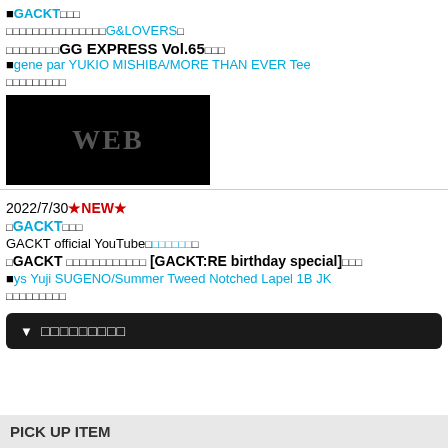■GACKT□□□
□□□□□□□□□□□□□□□G&LOVERS□
□□□□□□□□GG EXPRESS Vol.65□□□
■gene par YUKIO MISHIBA/MORE THAN EVER Tee
□□□□□□□□□
[Figure (other): Black box with 'WEB' text in gray]
2022/7/30★NEW★
□GACKT□□□
GACKT official YouTube□□□□□□□
□GACKT □□□□□□□□□□□□□ [GACKT:RE birthday special]□□□
■ys Yuji SUGENO/Summer Tweed Notched Lapel 1B JK
□□□□□□□□□
▼ □□□□□□□□□
PICK UP ITEM